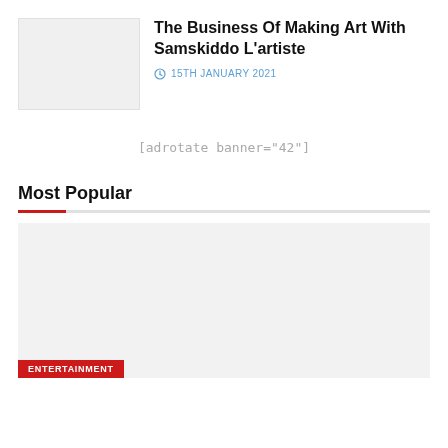[Figure (photo): Thumbnail placeholder image for article about Samskiddo L'artiste]
The Business Of Making Art With Samskiddo L'artiste
15TH JANUARY 2021
[adrotate banner="42"]
Most Popular
[Figure (photo): Featured image placeholder for Most Popular section with ENTERTAINMENT tag]